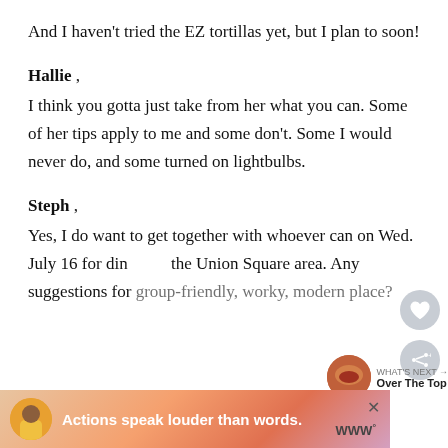And I haven't tried the EZ tortillas yet, but I plan to soon!
Hallie ,
I think you gotta just take from her what you can. Some of her tips apply to me and some don't. Some I would never do, and some turned on lightbulbs.
Steph ,
Yes, I do want to get together with whoever can on Wed. July 16 for din[ner in] the Union Square area. Any suggestions for group-friendly, worky, modern place?
[Figure (screenshot): What's Next thumbnail with food image and label 'Over The Top']
[Figure (screenshot): Ad banner: person in yellow shirt, text 'Actions speak louder than words.' with close button and logo]